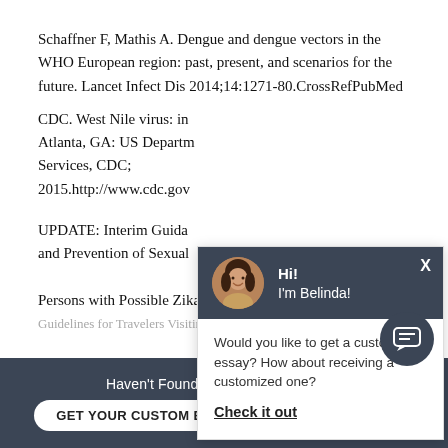Schaffner F, Mathis A. Dengue and dengue vectors in the WHO European region: past, present, and scenarios for the future. Lancet Infect Dis 2014;14:1271-80.CrossRefPubMed
CDC. West Nile virus: in... Atlanta, GA: US Departm... Services, CDC; 2015.http://www.cdc.gov...
UPDATE: Interim Guida... and Prevention of Sexual... Persons with Possible Zika Virus Exposure Guidelines for Travelers Visiting Friends and Family in...
[Figure (screenshot): Chat popup overlay with avatar photo of woman named Belinda, dark header, and message asking if user wants a custom essay with 'Check it out' link]
Haven't Found The Essay You Want?
GET YOUR CUSTOM ESSAY    For Only $13.90/page